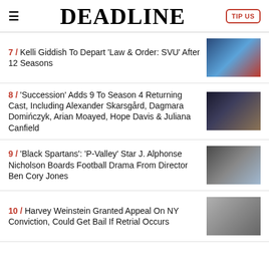DEADLINE
7 / Kelli Giddish To Depart 'Law & Order: SVU' After 12 Seasons
8 / 'Succession' Adds 9 To Season 4 Returning Cast, Including Alexander Skarsgård, Dagmara Domińczyk, Arian Moayed, Hope Davis & Juliana Canfield
9 / 'Black Spartans': 'P-Valley' Star J. Alphonse Nicholson Boards Football Drama From Director Ben Cory Jones
10 / Harvey Weinstein Granted Appeal On NY Conviction, Could Get Bail If Retrial Occurs